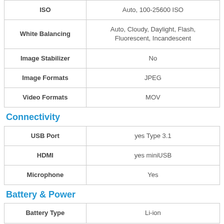| Feature | Value |
| --- | --- |
| ISO | Auto, 100-25600 ISO |
| White Balancing | Auto, Cloudy, Daylight, Flash, Fluorescent, Incandescent |
| Image Stabilizer | No |
| Image Formats | JPEG |
| Video Formats | MOV |
Connectivity
| Feature | Value |
| --- | --- |
| USB Port | yes Type 3.1 |
| HDMI | yes miniUSB |
| Microphone | Yes |
Battery & Power
| Feature | Value |
| --- | --- |
| Battery Type | Li-ion |